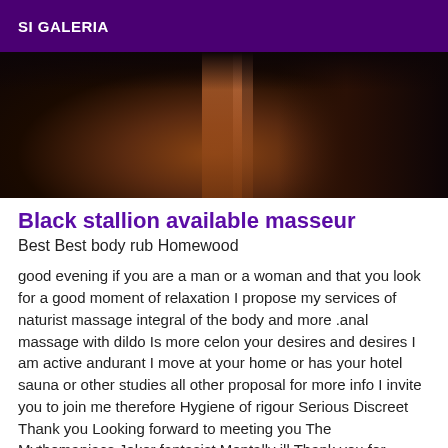SI GALERIA
[Figure (photo): Dark atmospheric photo with warm reddish-brown vertical light streak against very dark background]
Black stallion available masseur
Best Best body rub Homewood
good evening if you are a man or a woman and that you look for a good moment of relaxation I propose my services of naturist massage integral of the body and more .anal massage with dildo Is more celon your desires and desires I am active andurant I move at your home or has your hotel sauna or other studies all other proposal for more info I invite you to join me therefore Hygiene of rigour Serious Discreet Thank you Looking forward to meeting you The Mythomaniacs Joker fantasist Mentally ill Thank you for passing your way